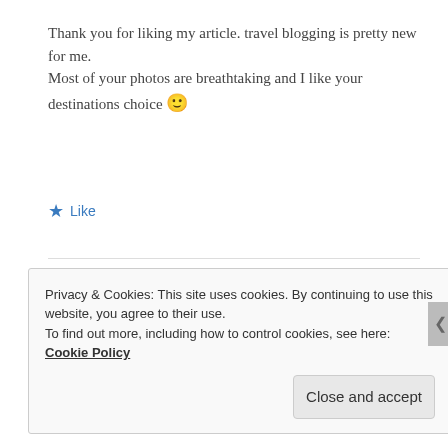Thank you for liking my article. travel blogging is pretty new for me.
Most of your photos are breathtaking and I like your destinations choice 🙂
★ Like
[Figure (logo): Circular mandala-style logo with triangles and decorative elements in black and gold]
mondrak
May 9, 2012 at 12:51 pm  Reply
Privacy & Cookies: This site uses cookies. By continuing to use this website, you agree to their use.
To find out more, including how to control cookies, see here: Cookie Policy
Close and accept